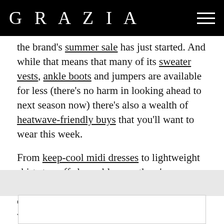GRAZIA
the brand's summer sale has just started. And while that means that many of its sweater vests, ankle boots and jumpers are available for less (there's no harm in looking ahead to next season now) there's also a wealth of heatwave-friendly buys that you'll want to wear this week.
From keep-cool midi dresses to lightweight shirts to puff sleeve blouses, there's everything you need to not just be comfortable in these high temperatures but well dressed, too.